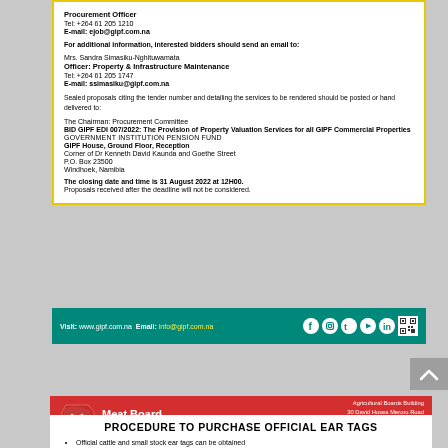Procurement Officer
Tel: +264 61 205 1210
E-mail: ejob@gipf.com.na
For additional information, interested bidders should send an email to:
Mrs. Sandra Simasiku-Nghituwamata
Officer: Property & Infrastructure Maintenance
Tel: +264 61 205 1747
E-mail: ssimasiku@gipf.com.na
Sealed proposals citing the tender number and detailing the services to be rendered should be posted or hand delivered to:
The Chairman: Procurement Committee
BID GIPF EDI 007/2022: The Provision of Property Valuation Services for all GIPF Commercial Properties
GOVERNMENT INSTITUTION PENSION FUND
GIPF House, Ground Floor, Reception
Corner of Dr Kenneth David Kaunda and Goethe Street
P.O. Box 23500
Windhoek, Namibia
The closing date and time is 31 August 2022 at 12H00.
Proposals received after the deadline will not be considered.
Visit: www.gipf.com.na  Email: info@gipf.com.na
[Figure (logo): Meat Board of Namibia logo with red background]
Agricultural Boards Building
30 David Hosea Meroro Road
PO Box 38 Windhoek Namibia
T: +264 61 275 830
F: +264 61 228 310
info@namemic.com.na
www.namemic.com.na
PROCEDURE TO PURCHASE OFFICIAL EAR TAGS
Official cattle and small stock ear tags can be obtained